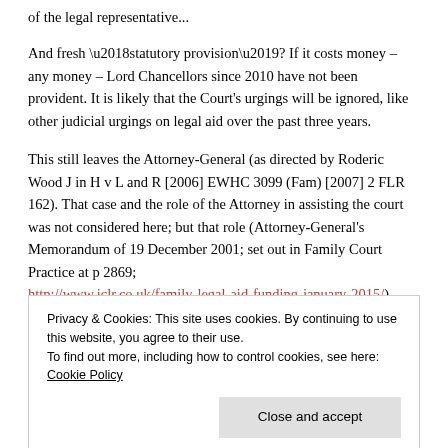of the legal representative...
And fresh ‘statutory provision’? If it costs money – any money – Lord Chancellors since 2010 have not been provident. It is likely that the Court’s urgings will be ignored, like other judicial urgings on legal aid over the past three years.
This still leaves the Attorney-General (as directed by Roderic Wood J in H v L and R [2006] EWHC 3099 (Fam) [2007] 2 FLR 162). That case and the role of the Attorney in assisting the court was not considered here; but that role (Attorney-General’s Memorandum of 19 December 2001; set out in Family Court Practice at p 2869; http://www.iclr.co.uk/family-legal-aid-funding-january-2015/) must
Privacy & Cookies: This site uses cookies. By continuing to use this website, you agree to their use.
To find out more, including how to control cookies, see here: Cookie Policy
Close and accept
witness